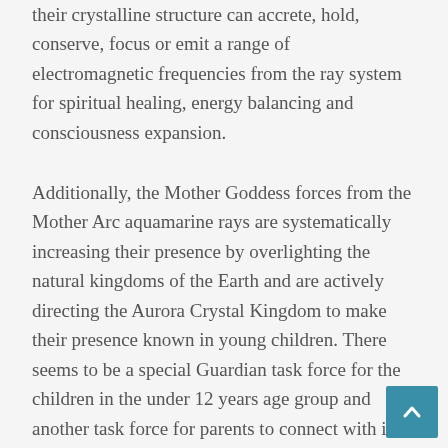their crystalline structure can accrete, hold, conserve, focus or emit a range of electromagnetic frequencies from the ray system for spiritual healing, energy balancing and consciousness expansion.
Additionally, the Mother Goddess forces from the Mother Arc aquamarine rays are systematically increasing their presence by overlighting the natural kingdoms of the Earth and are actively directing the Aurora Crystal Kingdom to make their presence known in young children. There seems to be a special Guardian task force for the children in the under 12 years age group and another task force for parents to connect with in order to support their older children. It is for this reason the [continues...]